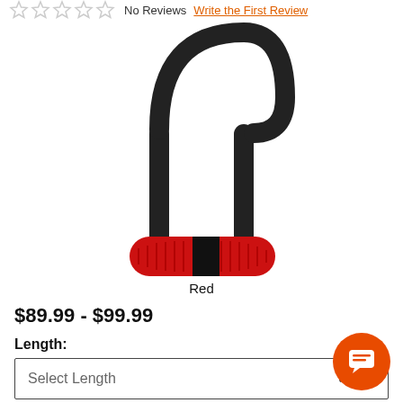No Reviews  Write the First Review
[Figure (photo): A black U-lock bicycle lock with a red and black cylindrical locking mechanism at the base]
Red
$89.99 - $99.99
Length:
Select Length